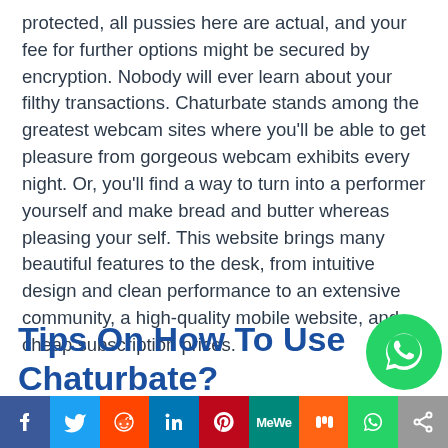protected, all pussies here are actual, and your fee for further options might be secured by encryption. Nobody will ever learn about your filthy transactions. Chaturbate stands among the greatest webcam sites where you'll be able to get pleasure from gorgeous webcam exhibits every night. Or, you'll find a way to turn into a performer yourself and make bread and butter whereas pleasing your self. This website brings many beautiful features to the desk, from intuitive design and clean performance to an extensive community, a high-quality mobile website, and cheap subscription prices.
Tips On How To Use Chaturbate?
[Figure (infographic): Social media share bar with icons: Facebook, Twitter, Reddit, LinkedIn, Pinterest, MeWe, Mix, WhatsApp, Share]